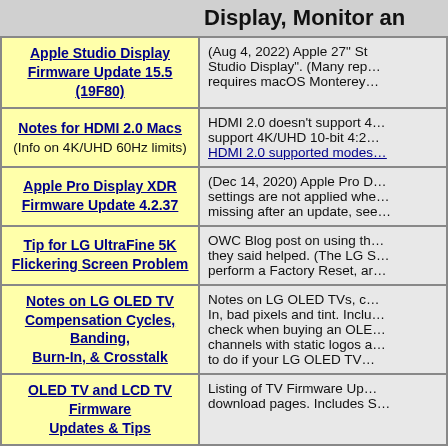Display, Monitor and...
Apple Studio Display Firmware Update 15.5 (19F80)
(Aug 4, 2022) Apple 27" St... Studio Display". (Many rep... requires macOS Monterey...
Notes for HDMI 2.0 Macs (Info on 4K/UHD 60Hz limits)
HDMI 2.0 doesn't support 4... support 4K/UHD 10-bit 4:2... HDMI 2.0 supported modes...
Apple Pro Display XDR Firmware Update 4.2.37
(Dec 14, 2020) Apple Pro D... settings are not applied whe... missing after an update, see...
Tip for LG UltraFine 5K Flickering Screen Problem
OWC Blog post on using th... they said helped. (The LG S... perform a Factory Reset, ar...
Notes on LG OLED TV Compensation Cycles, Banding, Burn-In, & Crosstalk
Notes on LG OLED TVs, c... In, bad pixels and tint. Inclu... check when buying an OLE... channels with static logos a... to do if your LG OLED TV...
OLED TV and LCD TV Firmware Updates & Tips
Listing of TV Firmware Up... download pages. Includes S...